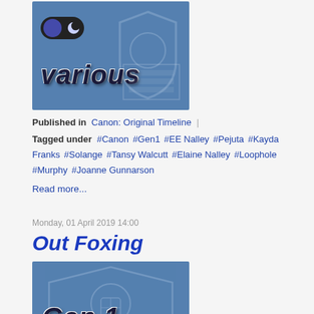[Figure (illustration): Blue blueprint-style background image with shield/crest and text 'various' in bold italic black letters with white outline. Toggle/dark mode icon in top left corner.]
Published in  Canon: Original Timeline |
Tagged under  #Canon  #Gen1  #EE Nalley  #Pejuta  #Kayda Franks  #Solange  #Tansy Walcutt  #Elaine Nalley  #Loophole  #Murphy  #Joanne Gunnarson
Read more...
Monday, 01 April 2019 14:00
Out Foxing
[Figure (illustration): Blue blueprint-style background image with shield/crest and text 'Gen 1' in bold italic black letters with white outline.]